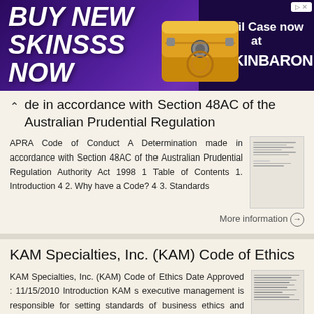[Figure (screenshot): Advertisement banner: BUY NEW SKINSSS NOW with golden chest image, Recoil Case now at SKINBARON text on purple background]
de in accordance with Section 48AC of the Australian Prudential Regulation
APRA Code of Conduct A Determination made in accordance with Section 48AC of the Australian Prudential Regulation Authority Act 1998 1 Table of Contents 1. Introduction 4 2. Why have a Code? 4 3. Standards
More information →
KAM Specialties, Inc. (KAM) Code of Ethics
KAM Specialties, Inc. (KAM) Code of Ethics Date Approved : 11/15/2010 Introduction KAM s executive management is responsible for setting standards of business ethics and overseeing compliance with these